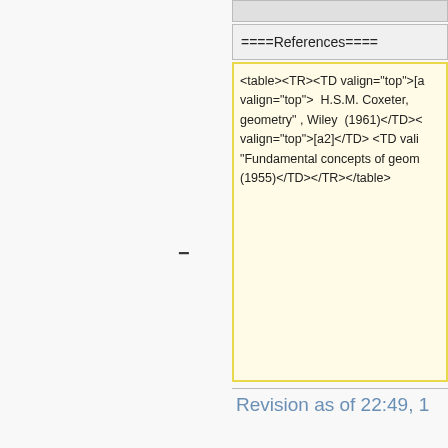====References====
<table><TR><TD valign="top">[a] valign="top">  H.S.M. Coxeter, geometry" , Wiley  (1961)</TD>< valign="top">[a2]</TD> <TD vali "Fundamental concepts of geom (1955)</TD></TR></table>
Revision as of 22:49, 1